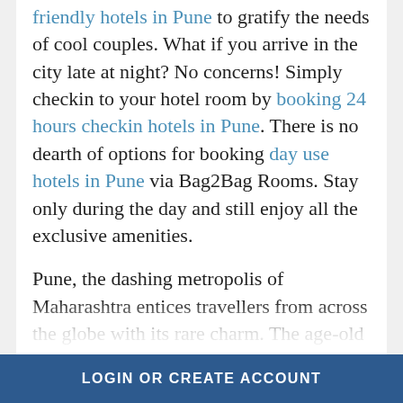friendly hotels in Pune to gratify the needs of cool couples. What if you arrive in the city late at night? No concerns! Simply checkin to your hotel room by booking 24 hours checkin hotels in Pune. There is no dearth of options for booking day use hotels in Pune via Bag2Bag Rooms. Stay only during the day and still enjoy all the exclusive amenities.

Pune, the dashing metropolis of Maharashtra entices travellers from across the globe with its rare charm. The age-old temples, palaces, and forts reflect the ancient culture of Pune city. The astounding architectural monuments represent the royal past of Pune.
LOGIN OR CREATE ACCOUNT